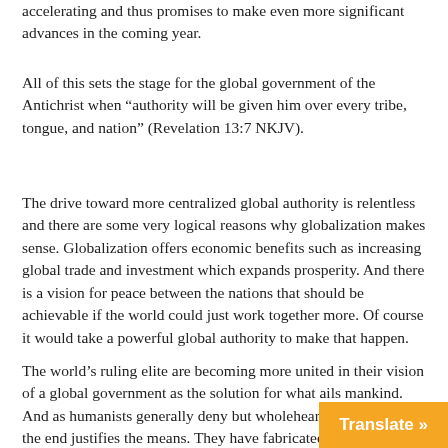accelerating and thus promises to make even more significant advances in the coming year.
All of this sets the stage for the global government of the Antichrist when “authority will be given him over every tribe, tongue, and nation” (Revelation 13:7 NKJV).
The drive toward more centralized global authority is relentless and there are some very logical reasons why globalization makes sense. Globalization offers economic benefits such as increasing global trade and investment which expands prosperity. And there is a vision for peace between the nations that should be achievable if the world could just work together more. Of course it would take a powerful global authority to make that happen.
The world’s ruling elite are becoming more united in their vision of a global government as the solution for what ails mankind. And as humanists generally deny but wholeheartedly practice, the end justifies the means. They have fabricated a climate change crisis to have nations work together and have more control over